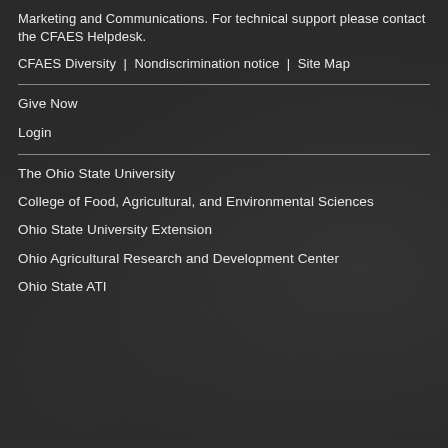Marketing and Communications. For technical support please contact the CFAES Helpdesk.
CFAES Diversity | Nondiscrimination notice | Site Map
Give Now
Login
The Ohio State University
College of Food, Agricultural, and Environmental Sciences
Ohio State University Extension
Ohio Agricultural Research and Development Center
Ohio State ATI